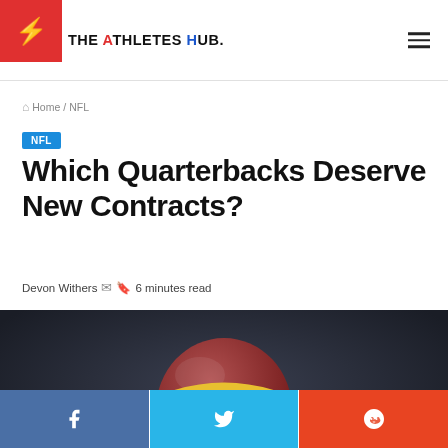THE ATHLETES HUB.
Home / NFL
NFL
Which Quarterbacks Deserve New Contracts?
Devon Withers  6 minutes read
[Figure (photo): NFL quarterback wearing a burgundy and gold helmet with yellow face mask, close-up portrait against dark background]
Facebook share button, Twitter share button, Reddit share button